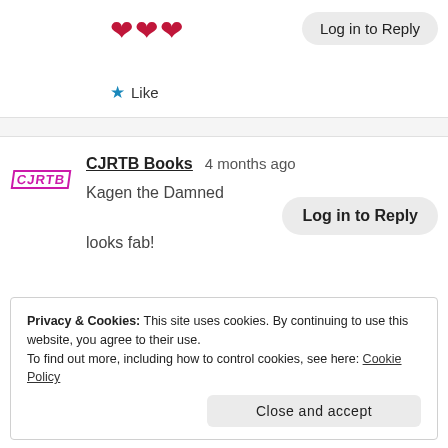[Figure (illustration): Three red heart emoji icons]
Log in to Reply
★ Like
CJRTB Books   4 months ago
Kagen the Damned looks fab!
Log in to Reply
Privacy & Cookies: This site uses cookies. By continuing to use this website, you agree to their use.
To find out more, including how to control cookies, see here: Cookie Policy
Close and accept